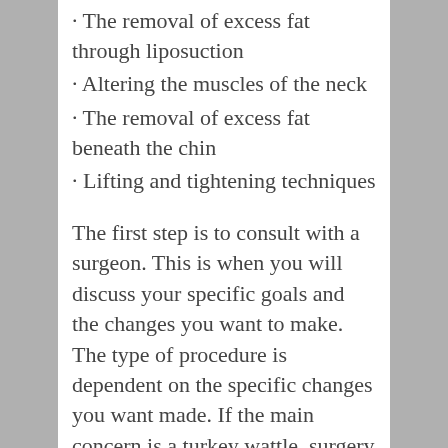· The removal of excess fat through liposuction
· Altering the muscles of the neck
· The removal of excess fat beneath the chin
· Lifting and tightening techniques
The first step is to consult with a surgeon. This is when you will discuss your specific goals and the changes you want to make. The type of procedure is dependent on the specific changes you want made. If the main concern is a turkey wattle, surgery may be recommended by the surgeon. This procedure accesses the platysma muscle in the neck. In certain cases, some of the muscle is removed